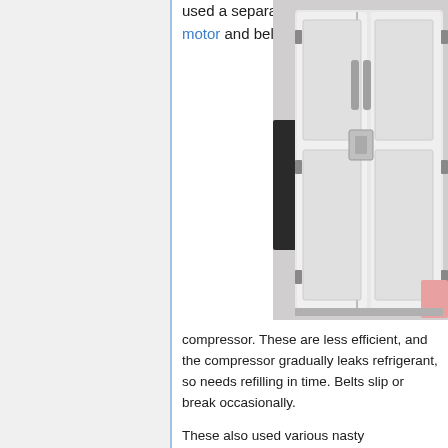used a separate motor and belt driven
[Figure (photo): Photo of an old white double-door refrigerator/cold storage unit with metal handles and latches, partially open, showing interior. A dark object is visible to the left.]
compressor. These are less efficient, and the compressor gradually leaks refrigerant, so needs refilling in time. Belts slip or break occasionally.
These also used various nasty refrigerants. The refrigerants used were either toxic, very toxic or explosively flammable. Such fridges were never well suited for use in inhabited spaces.
Refilling with modern refrigerants is usually not an option, as the working pressures of these old systems are often too far removed from those of modern